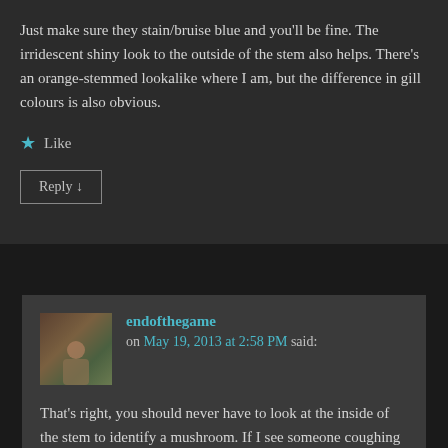Just make sure they stain/bruise blue and you'll be fine. The irridescent shiny look to the outside of the stem also helps. There's an orange-stemmed lookalike where I am, but the difference in gill colours is also obvious.
★ Like
Reply ↓
endofthegame on May 19, 2013 at 2:58 PM said:
That's right, you should never have to look at the inside of the stem to identify a mushroom. If I see someone coughing and spitting globs of phlegm I don't have to cut them up to know they